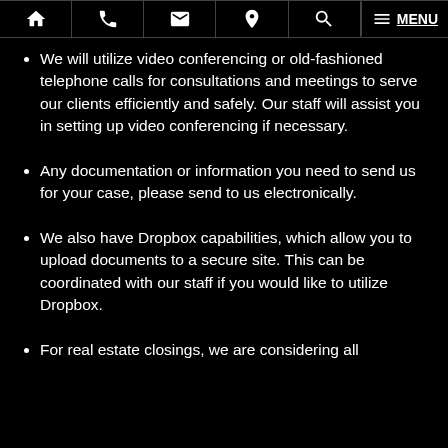Navigation bar with home, phone, email, location, search, and menu icons
We will utilize video conferencing or old-fashioned telephone calls for consultations and meetings to serve our clients efficiently and safely. Our staff will assist you in setting up video conferencing if necessary.
Any documentation or information you need to send us for your case, please send to us electronically.
We also have Dropbox capabilities, which allow you to upload documents to a secure site. This can be coordinated with our staff if you would like to utilize Dropbox.
For real estate closings, we are considering all